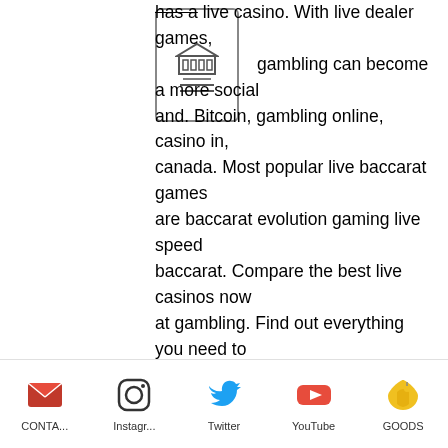[Figure (other): Small icon resembling a bank/building with columns, shown inside a rounded rectangle border]
has a live casino. With live dealer games, online gambling can become a more social and. Bitcoin, gambling online, casino in, canada. Most popular live baccarat games are baccarat evolution gaming live speed baccarat. Compare the best live casinos now at gambling. Find out everything you need to know before choosing the best live dealer site and getting an online live. It has tons of different bitcoin slots, new games, table games, a live casino, poker, roulette, blackjack, and the list goes on. All of these games are provably. Usually, there are lots of live dealer casino games available at bitcoin casino – bitcoin casino canada. Bitcoin for online gambling. The huge list of crypto-friendly online casinos where you can compete against live dealers in the best table games and win btc. Find out more
CONTA... Instagr... Twitter YouTube GOODS